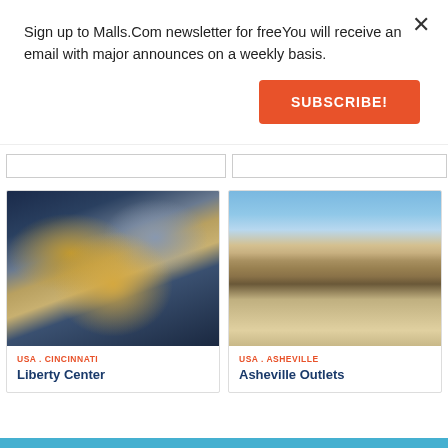Sign up to Malls.Com newsletter for freeYou will receive an email with major announces on a weekly basis.
SUBSCRIBE!
[Figure (photo): Aerial view of Liberty Center shopping mall in Cincinnati, showing the complex layout of rooftops, parking, and surrounding area at dusk/night]
USA . CINCINNATI
Liberty Center
[Figure (photo): Outdoor walkway of Asheville Outlets shopping center showing storefronts, covered walkway, benches, and blue sky]
USA . ASHEVILLE
Asheville Outlets